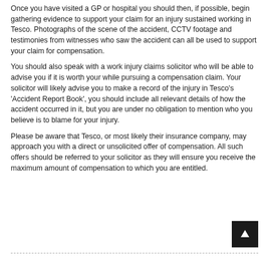Once you have visited a GP or hospital you should then, if possible, begin gathering evidence to support your claim for an injury sustained working in Tesco. Photographs of the scene of the accident, CCTV footage and testimonies from witnesses who saw the accident can all be used to support your claim for compensation.
You should also speak with a work injury claims solicitor who will be able to advise you if it is worth your while pursuing a compensation claim. Your solicitor will likely advise you to make a record of the injury in Tesco's 'Accident Report Book', you should include all relevant details of how the accident occurred in it, but you are under no obligation to mention who you believe is to blame for your injury.
Please be aware that Tesco, or most likely their insurance company, may approach you with a direct or unsolicited offer of compensation. All such offers should be referred to your solicitor as they will ensure you receive the maximum amount of compensation to which you are entitled.